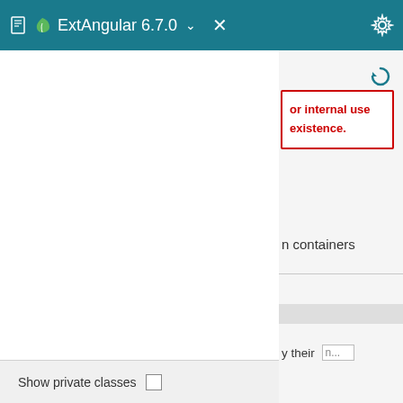ExtAngular 6.7.0
or internal use existence.
n containers
y their  n...
Show private classes